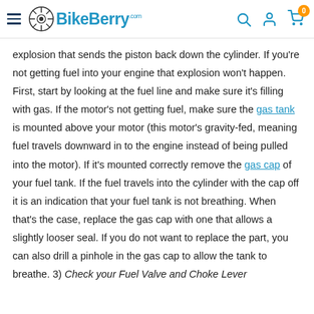BikeBerry.com navigation header
explosion that sends the piston back down the cylinder. If you're not getting fuel into your engine that explosion won't happen. First, start by looking at the fuel line and make sure it's filling with gas. If the motor's not getting fuel, make sure the gas tank is mounted above your motor (this motor's gravity-fed, meaning fuel travels downward in to the engine instead of being pulled into the motor). If it's mounted correctly remove the gas cap of your fuel tank. If the fuel travels into the cylinder with the cap off it is an indication that your fuel tank is not breathing. When that's the case, replace the gas cap with one that allows a slightly looser seal. If you do not want to replace the part, you can also drill a pinhole in the gas cap to allow the tank to breathe. 3) Check your Fuel Valve and Choke Lever